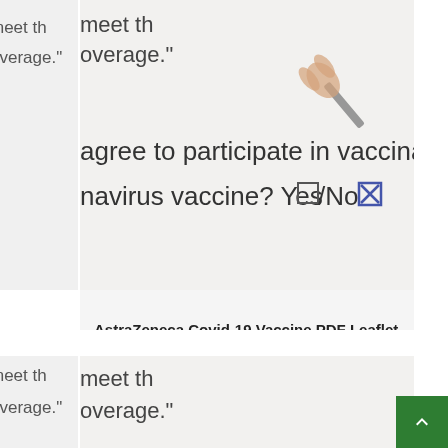[Figure (photo): Close-up photo of a vaccine participation consent form showing partial text: 'meet the coverage.' and 'agree to participate in vaccina...' and 'navirus vaccine? Yes☐/No☑' with a pen checking the No checkbox.]
AstraZeneca Covid-19 Vaccine PDF Leaflet
[Figure (photo): Partial view of a second similar vaccine form photo showing 'meet the...' and 'overage.' text — same style as the first card, partially visible at the bottom of the page.]